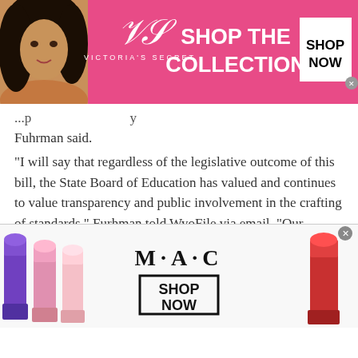[Figure (photo): Victoria's Secret advertisement banner with a model, VS logo, 'SHOP THE COLLECTION' text, and 'SHOP NOW' button]
Fuhrman said.
“I will say that regardless of the legislative outcome of this bill, the State Board of Education has valued and continues to value transparency and public involvement in the crafting of standards,” Furhman told WyoFile via email. “Our current system of approving content standards has many opportunities for public input.”
The WEA prohibited...
[Figure (photo): M·A·C cosmetics advertisement banner with lipsticks, M·A·C logo, and 'SHOP NOW' button]